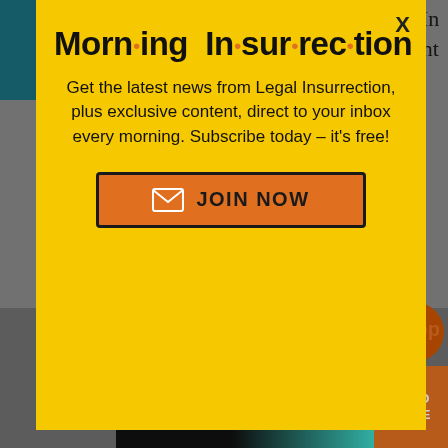[Figure (screenshot): Accessibility icon (wheelchair symbol) in white on teal background, top-left corner]
that doesn't mean all do. In particular law enforcement and a few other areas are redder,
[Figure (infographic): Morning Insurrection modal popup newsletter signup on yellow background with orange JOIN NOW button]
because they benefit
[Figure (screenshot): The Perspective advertisement banner: SEE WHAT YOU'RE MISSING with READ MORE button]